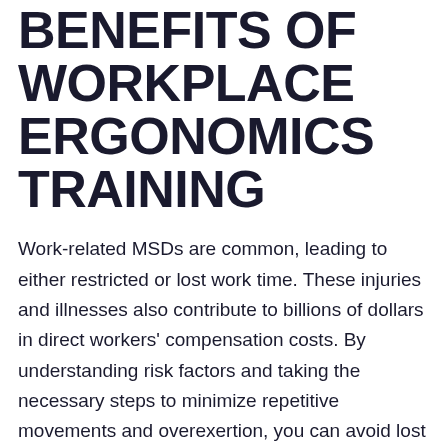BENEFITS OF WORKPLACE ERGONOMICS TRAINING
Work-related MSDs are common, leading to either restricted or lost work time. These injuries and illnesses also contribute to billions of dollars in direct workers' compensation costs. By understanding risk factors and taking the necessary steps to minimize repetitive movements and overexertion, you can avoid lost productivity and revenue in your workplace.
Upon successful completion of the course, you will receive a certificate and be designated a Workplace Ergonomics Specialist (WES).